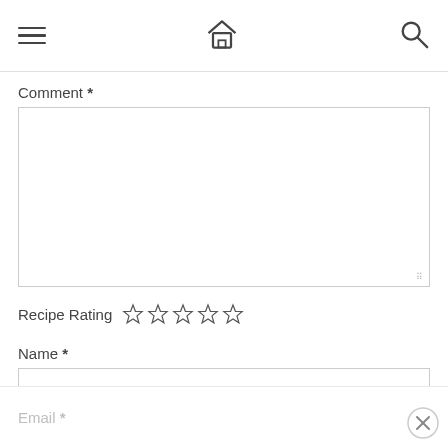Navigation header with hamburger menu, home icon, and search icon
Comment *
[Figure (screenshot): Empty comment textarea input box with resize handle]
Recipe Rating ☆☆☆☆☆
Name *
[Figure (screenshot): Empty name text input box]
Email *